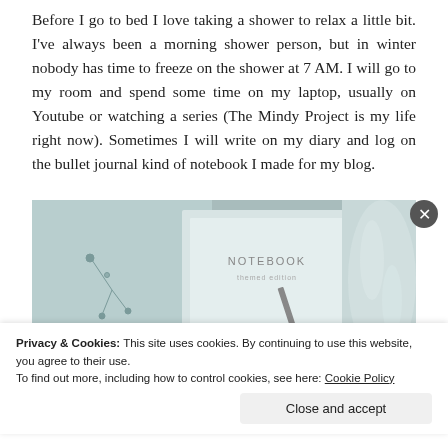Before I go to bed I love taking a shower to relax a little bit. I've always been a morning shower person, but in winter nobody has time to freeze on the shower at 7 AM. I will go to my room and spend some time on my laptop, usually on Youtube or watching a series (The Mindy Project is my life right now). Sometimes I will write on my diary and log on the bullet journal kind of notebook I made for my blog.
[Figure (photo): Photo of a notebook with floral designs and a pen, along with what appears to be a white furry object on the right side. The notebook shows the word 'NOTEBOOK' on its cover.]
Privacy & Cookies: This site uses cookies. By continuing to use this website, you agree to their use.
To find out more, including how to control cookies, see here: Cookie Policy